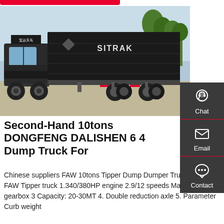[Figure (photo): A black SITRAK branded dump truck (DONGFENG DALISHEN 6x4) parked on a road with trees in the background. The truck has a large black tipper body with Chinese characters and the SITRAK logo visible.]
Second-Hand 10tons DONGFENG DALISHEN 6 4 Dump Truck For
Chinese suppliers FAW 10tons Tipper Dump Dumper Truck. 30 ton FAW Tipper truck 1.340/380HP engine 2.9/12 speeds Manual gearbox 3 Capacity: 20-30MT 4. Double reduction axle 5. Parameter Curb weight